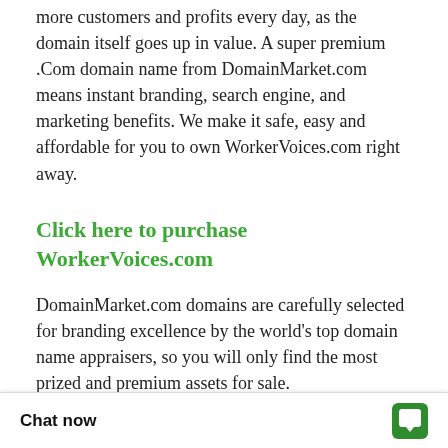more customers and profits every day, as the domain itself goes up in value. A super premium .Com domain name from DomainMarket.com means instant branding, search engine, and marketing benefits. We make it safe, easy and affordable for you to own WorkerVoices.com right away.
Click here to purchase WorkerVoices.com
DomainMarket.com domains are carefully selected for branding excellence by the world's top domain name appraisers, so you will only find the most prized and premium assets for sale.
If the value of one new lifelong customer and its references makes up for the domain cost, imagine how a great domain from D... when it helps you attr...
Chat now